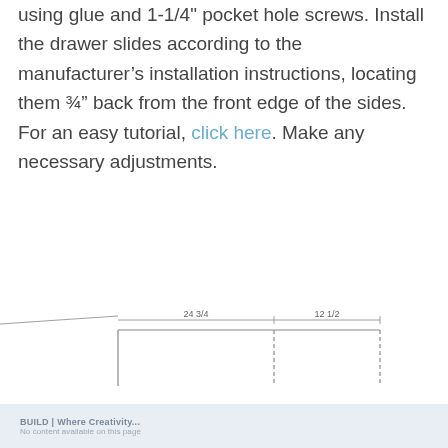using glue and 1-1/4" pocket hole screws. Install the drawer slides according to the manufacturer's installation instructions, locating them ¾" back from the front edge of the sides. For an easy tutorial, click here. Make any necessary adjustments.
[Figure (schematic): Technical line drawing of a drawer/cabinet top view showing two sections with dimension annotations: 24 3/4" for the left section and 12 1/2" for the right section.]
BUILD | Where Creativity...